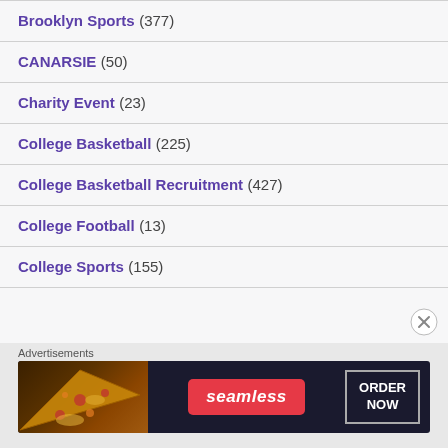Brooklyn Sports (377)
CANARSIE (50)
Charity Event (23)
College Basketball (225)
College Basketball Recruitment (427)
College Football (13)
College Sports (155)
Advertisements
[Figure (other): Seamless food delivery advertisement banner with pizza image, Seamless logo in red, and ORDER NOW button]